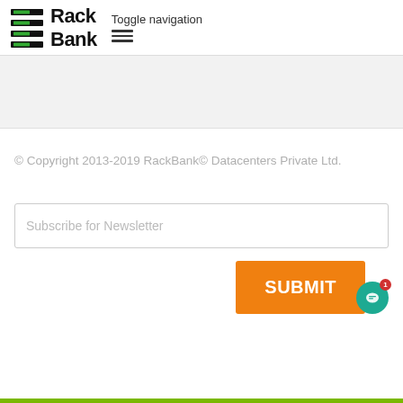RackBank | Toggle navigation
© Copyright 2013-2019 RackBank© Datacenters Private Ltd.
Subscribe for Newsletter
SUBMIT